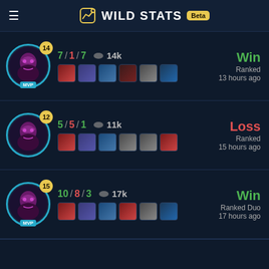WILD STATS Beta
7 / 1 / 7  14k  Win  Ranked  13 hours ago  Level 14  MVP
[Figure (screenshot): Champion portrait with level 14 badge and MVP label, item icons row]
5 / 5 / 1  11k  Loss  Ranked  15 hours ago  Level 12
[Figure (screenshot): Champion portrait with level 12 badge, item icons row]
10 / 8 / 3  17k  Win  Ranked Duo  17 hours ago  Level 15  MVP
[Figure (screenshot): Champion portrait with level 15 badge and MVP label, item icons row]